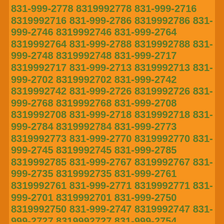831-999-2778 8319992778 831-999-2716 8319992716 831-999-2786 8319992786 831-999-2746 8319992746 831-999-2764 8319992764 831-999-2788 8319992788 831-999-2748 8319992748 831-999-2717 8319992717 831-999-2713 8319992713 831-999-2702 8319992702 831-999-2742 8319992742 831-999-2726 8319992726 831-999-2768 8319992768 831-999-2708 8319992708 831-999-2718 8319992718 831-999-2784 8319992784 831-999-2773 8319992773 831-999-2770 8319992770 831-999-2745 8319992745 831-999-2785 8319992785 831-999-2767 8319992767 831-999-2735 8319992735 831-999-2761 8319992761 831-999-2771 8319992771 831-999-2701 8319992701 831-999-2750 8319992750 831-999-2747 8319992747 831-999-2727 8319992727 831-999-2754 8319992754 831-999-2762 8319992762 831-999-2796 8319992796 831-999-2739 8319992739 831-999-2758 8319992758 831-999-2733 8319992733 831-999-2730 8319992730 831-999-2779 8319992779 831-999-2712 8319992712 831-999-2797 8319992797 831-999-2791 8319992791 831-999-2753 8319992753